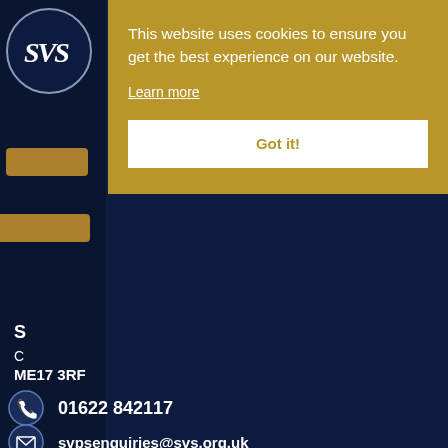[Figure (logo): SVS circular logo with stylized letters SVS in white on dark navy background]
This website uses cookies to ensure you get the best experience on our website.
Learn more
Got it!
S
C
ME17 3RF
01622 842117
svpsenquiries@svs.org.uk
Little Lambs Nursery
Church Road, Chart Sutton, Maidstone, Kent, ME17 3RF
01622 842117